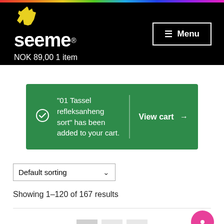[Figure (logo): SeeMe logo with yellow hand icon and white wordmark on black background, with NOK 89,00 1 item cart text]
"01 Tassel refleksanheng sort" has been added to your cart.
View cart →
Default sorting
Showing 1–120 of 167 results
1  2  ▶